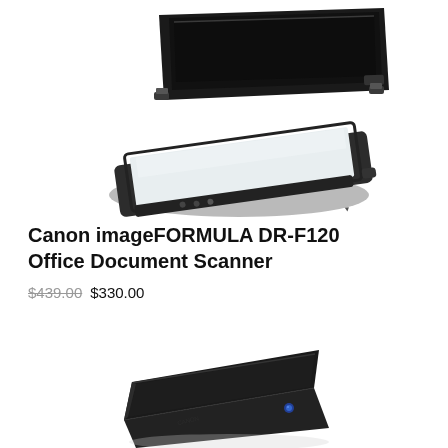[Figure (photo): Canon imageFORMULA DR-F120 flatbed document scanner with lid open, showing white scanning glass surface, photographed from an angle on a white background]
Canon imageFORMULA DR-F120 Office Document Scanner
$439.00 $330.00
[Figure (photo): Canon imageFORMULA DR-F120 document scanner with lid closed, showing compact black body, photographed from an angle on a white background]